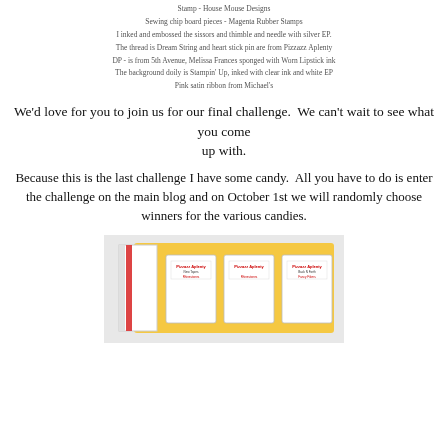Stamp - House Mouse Designs
Sewing chip board pieces - Magenta Rubber Stamps
I inked and embossed the sissors and thimble and needle with silver EP.
The thread is Dream String and heart stick pin are from Pizzazz Aplenty
DP - is from 5th Avenue, Melissa Frances sponged with Worn Lipstick ink
The background doily is Stampin' Up, inked with clear ink and white EP
Pink satin ribbon from Michael's
We'd love for you to join us for our final challenge.  We can't wait to see what you come up with.
Because this is the last challenge I have some candy.  All you have to do is enter the challenge on the main blog and on October 1st we will randomly choose winners for the various candies.
[Figure (photo): Photo of candy prizes on a yellow background showing Pizzazz Aplenty product boxes]